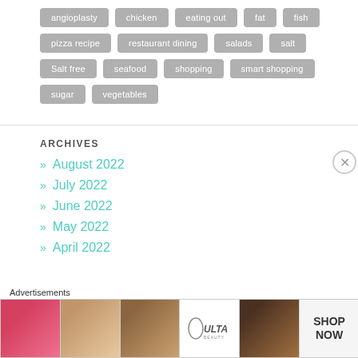angioplasty
chicken
eating out
fat
fish
pizza recipe
restaurant dining
salads
salt
Salt free
seafood
shopping
smart shopping
sugar
vegetables
ARCHIVES
» August 2022
» July 2022
» June 2022
» May 2022
» April 2022
Advertisements
[Figure (photo): Beauty/cosmetics advertisement banner showing lips, makeup brush, eyes, Ulta Beauty logo, and SHOP NOW text]